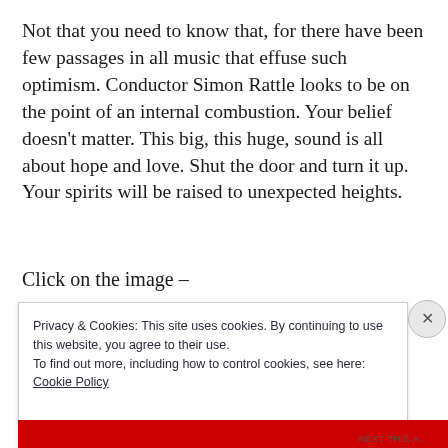Not that you need to know that, for there have been few passages in all music that effuse such optimism. Conductor Simon Rattle looks to be on the point of an internal combustion. Your belief doesn't matter. This big, this huge, sound is all about hope and love. Shut the door and turn it up. Your spirits will be raised to unexpected heights.
Click on the image –
Privacy & Cookies: This site uses cookies. By continuing to use this website, you agree to their use.
To find out more, including how to control cookies, see here:
Cookie Policy
Close and accept